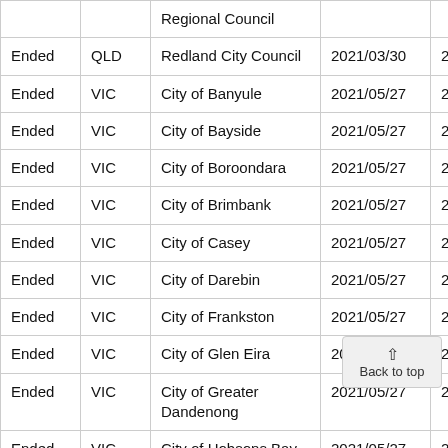| Status | State | Council | Start Date | End Date |
| --- | --- | --- | --- | --- |
|  |  | Regional Council |  |  |
| Ended | QLD | Redland City Council | 2021/03/30 | 2021/0… |
| Ended | VIC | City of Banyule | 2021/05/27 | 2021/0… |
| Ended | VIC | City of Bayside | 2021/05/27 | 2021/0… |
| Ended | VIC | City of Boroondara | 2021/05/27 | 2021/0… |
| Ended | VIC | City of Brimbank | 2021/05/27 | 2021/0… |
| Ended | VIC | City of Casey | 2021/05/27 | 2021/0… |
| Ended | VIC | City of Darebin | 2021/05/27 | 2021/0… |
| Ended | VIC | City of Frankston | 2021/05/27 | 2021/0… |
| Ended | VIC | City of Glen Eira | 2021/05/27 | 2021/0… |
| Ended | VIC | City of Greater Dandenong | 2021/05/27 | 2021/0… |
| Ended | VIC | City of Hobsons Bay | 2021/05/27 | 2021/0… |
| Ended | VIC | City of Hume | 2021/05/27 | 2021/0… |
| Ended | VIC | City of Kingston | 2021/05/… | 2021/0… |